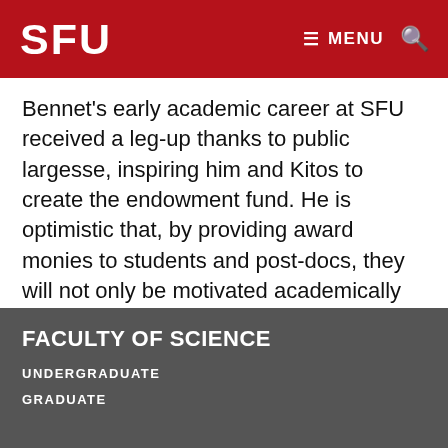SFU | MENU
Bennet's early academic career at SFU received a leg-up thanks to public largesse, inspiring him and Kitos to create the endowment fund. He is optimistic that, by providing award monies to students and post-docs, they will not only be motivated academically but inspired down the road to pay it forward. “Hopefully if you win awards from scholarships, then later on you’ll give back,” Bennet says.
FACULTY OF SCIENCE
UNDERGRADUATE
GRADUATE